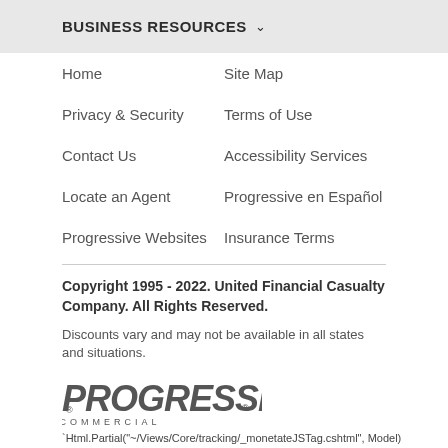BUSINESS RESOURCES ∨
Home
Site Map
Privacy & Security
Terms of Use
Contact Us
Accessibility Services
Locate an Agent
Progressive en Español
Progressive Websites
Insurance Terms
Copyright 1995 - 2022. United Financial Casualty Company. All Rights Reserved.
Discounts vary and may not be available in all states and situations.
[Figure (logo): Progressive Commercial logo in italic bold gray text with registered trademark symbol]
`Html.Partial("~/Views/Core/tracking/_monetateJSTag.cshtml", Model)